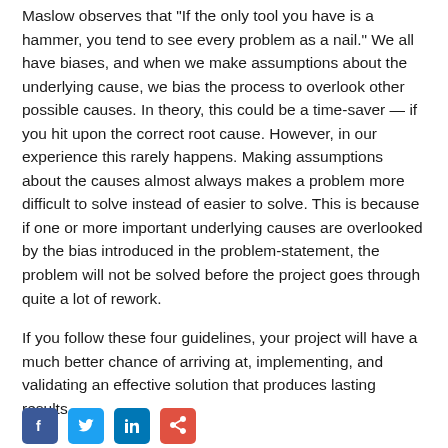Maslow observes that "If the only tool you have is a hammer, you tend to see every problem as a nail." We all have biases, and when we make assumptions about the underlying cause, we bias the process to overlook other possible causes. In theory, this could be a time-saver — if you hit upon the correct root cause. However, in our experience this rarely happens. Making assumptions about the causes almost always makes a problem more difficult to solve instead of easier to solve. This is because if one or more important underlying causes are overlooked by the bias introduced in the problem-statement, the problem will not be solved before the project goes through quite a lot of rework.
If you follow these four guidelines, your project will have a much better chance of arriving at, implementing, and validating an effective solution that produces lasting results.
[Figure (other): Social media sharing icons: Facebook, Twitter, LinkedIn, and a share/email button]